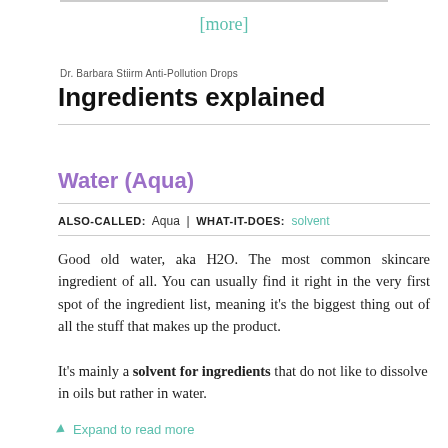[more]
Dr. Barbara Stiirm Anti-Pollution Drops
Ingredients explained
Water (Aqua)
ALSO-CALLED: Aqua | WHAT-IT-DOES: solvent
Good old water, aka H2O. The most common skincare ingredient of all. You can usually find it right in the very first spot of the ingredient list, meaning it’s the biggest thing out of all the stuff that makes up the product.
It’s mainly a solvent for ingredients that do not like to dissolve in oils but rather in water.
Expand to read more